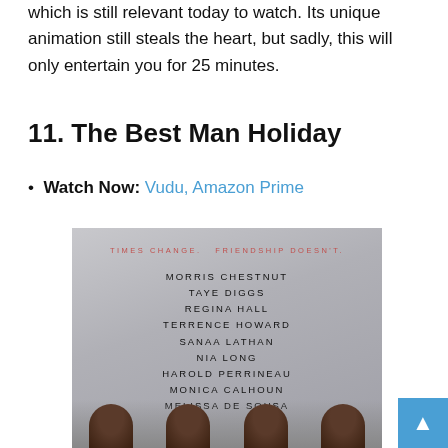which is still relevant today to watch. Its unique animation still steals the heart, but sadly, this will only entertain you for 25 minutes.
11. The Best Man Holiday
Watch Now: Vudu, Amazon Prime
[Figure (photo): Movie poster for The Best Man Holiday showing cast names: Morris Chestnut, Taye Diggs, Regina Hall, Terrence Howard, Sanaa Lathan, Nia Long, Harold Perrineau, Monica Calhoun, Melissa De Sousa. Tagline: Times Change. Friendship Doesn't. Bottom shows silhouetted cast figures.]